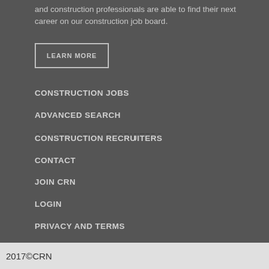and construction professionals are able to find their next career on our construction job board.
LEARN MORE
CONSTRUCTION JOBS
ADVANCED SEARCH
CONSTRUCTION RECRUITERS
CONTACT
JOIN CRN
LOGIN
PRIVACY AND TERMS
2017© CRN